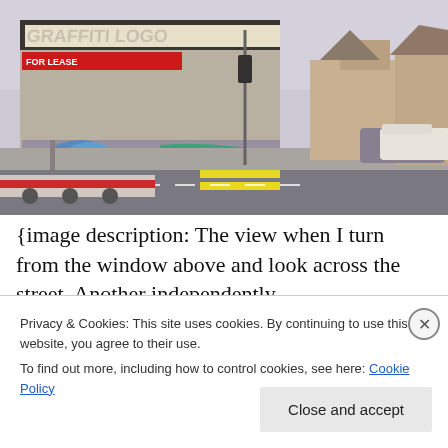[Figure (photo): Street scene photo showing a commercial building covered in graffiti with a 'FOR LEASE' sign, a subway/transit kiosk, parked cars, and residential houses in the background. A transport truck barrier is visible on the left. Yellow crosswalk markings are on the road.]
{image description: The view when I turn from the window above and look across the street. Another independently-
Privacy & Cookies: This site uses cookies. By continuing to use this website, you agree to their use.
To find out more, including how to control cookies, see here: Cookie Policy
Close and accept